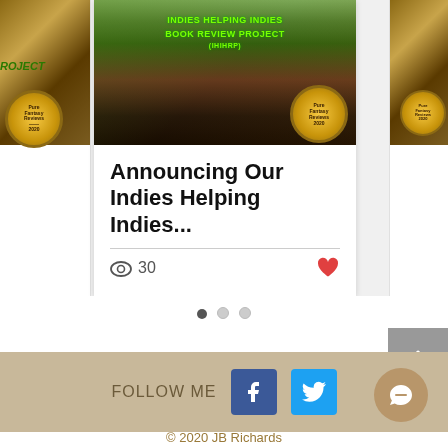[Figure (screenshot): Blog post card carousel showing 'Announcing Our Indies Helping Indies...' post with a fantasy book-themed banner image featuring trees and books. Center card shows title, view count of 30, and a heart/like button. Side partial cards visible. Pagination dots below. Scroll-to-top button. Footer with FOLLOW ME text, Facebook and Twitter icons.]
Announcing Our Indies Helping Indies...
30
FOLLOW ME
© 2020 JB Richards